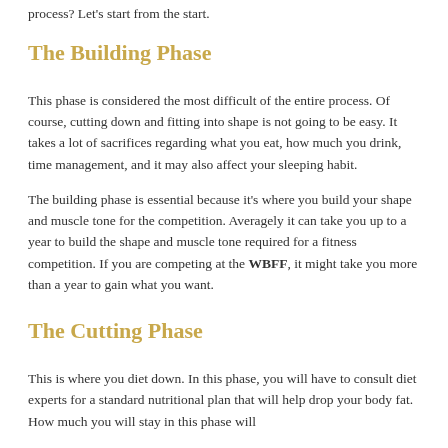process? Let's start from the start.
The Building Phase
This phase is considered the most difficult of the entire process. Of course, cutting down and fitting into shape is not going to be easy. It takes a lot of sacrifices regarding what you eat, how much you drink, time management, and it may also affect your sleeping habit.
The building phase is essential because it's where you build your shape and muscle tone for the competition. Averagely it can take you up to a year to build the shape and muscle tone required for a fitness competition. If you are competing at the WBFF, it might take you more than a year to gain what you want.
The Cutting Phase
This is where you diet down. In this phase, you will have to consult diet experts for a standard nutritional plan that will help drop your body fat. How much you will stay in this phase will